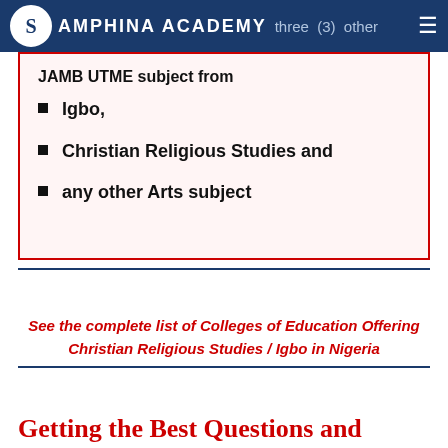SAMPHINA ACADEMY  three (3) other
JAMB UTME subject from
Igbo,
Christian Religious Studies and
any other Arts subject
See the complete list of Colleges of Education Offering Christian Religious Studies / Igbo in Nigeria
Getting the Best Questions and